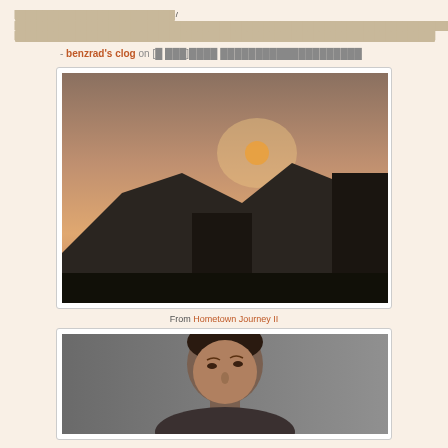[redacted text block with link to benzrad's clog]
- benzrad's clog on [redacted Korean/CJK text]
[Figure (photo): Sunset over mountains and buildings silhouette, urban landscape at dusk]
From Hometown Journey II
[Figure (photo): Portrait of a man looking upward, close-up head shot]